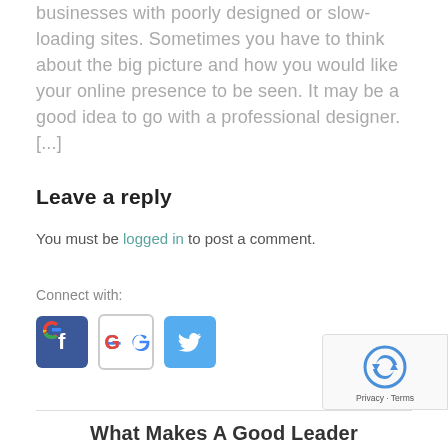businesses with poorly designed or slow-loading sites. Sometimes you have to think about the big picture and how you would like your online presence to be seen. It may be a good idea to go with a professional designer. [...]
Leave a reply
You must be logged in to post a comment.
Connect with:
[Figure (other): Social login icons: Facebook (blue), Google (white with border), Twitter (light blue)]
[Figure (other): reCAPTCHA badge with Privacy and Terms links]
What Makes A Good Leader